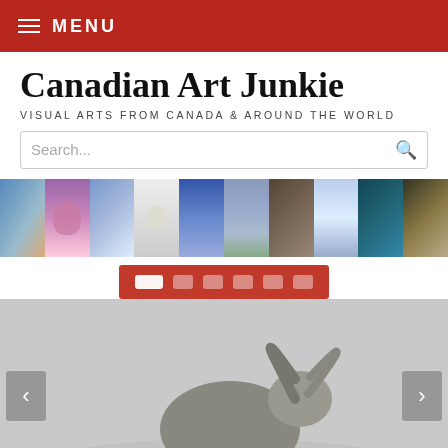MENU
Canadian Art Junkie
VISUAL ARTS FROM CANADA & AROUND THE WORLD
Search...
[Figure (photo): Horizontal thumbnail strip of approximately 10 art images]
[Figure (photo): Slideshow hero image showing a bighorn ram on a misty grey background with navigation arrows and pagination dots]
Alice Zilberberg: Meditations